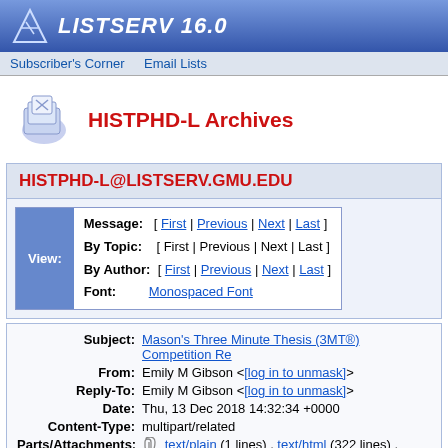LISTSERV 16.0
Subscriber's Corner   Email Lists
HISTPHD-L Archives
HISTPHD-L@LISTSERV.GMU.EDU
| View: | Navigation |
| --- | --- |
| Message: | [ First | Previous | Next | Last ] |
| By Topic: | [ First | Previous | Next | Last ] |
| By Author: | [ First | Previous | Next | Last ] |
| Font: | Monospaced Font |
| Field | Value |
| --- | --- |
| Subject: | Mason's Three Minute Thesis (3MT®) Competition Re |
| From: | Emily M Gibson <[log in to unmask]> |
| Reply-To: | Emily M Gibson <[log in to unmask]> |
| Date: | Thu, 13 Dec 2018 14:32:34 +0000 |
| Content-Type: | multipart/related |
| Parts/Attachments: | text/plain (1 lines) , text/html (322 lines) , image00 lines) |